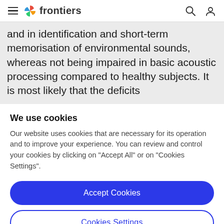frontiers
and in identification and short-term memorisation of environmental sounds, whereas not being impaired in basic acoustic processing compared to healthy subjects. It is most likely that the deficits
We use cookies
Our website uses cookies that are necessary for its operation and to improve your experience. You can review and control your cookies by clicking on "Accept All" or on "Cookies Settings".
Accept Cookies
Cookies Settings